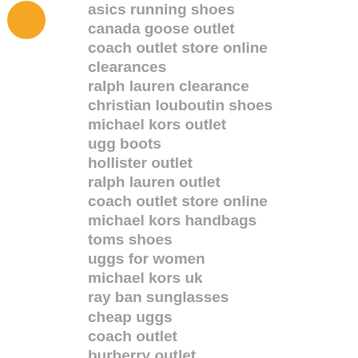[Figure (logo): Orange circular logo/icon in top-left corner]
asics running shoes
canada goose outlet
coach outlet store online clearances
ralph lauren clearance
christian louboutin shoes
michael kors outlet
ugg boots
hollister outlet
ralph lauren outlet
coach outlet store online
michael kors handbags
toms shoes
uggs for women
michael kors uk
ray ban sunglasses
cheap uggs
coach outlet
burberry outlet
polo ralph lauren
christian louboutin outlet
toms
mlb jerseys
air jordans